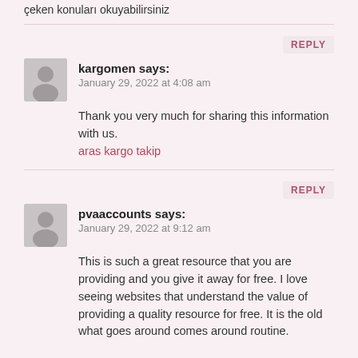çeken konuları okuyabilirsiniz
kargomen says:
January 29, 2022 at 4:08 am
Thank you very much for sharing this information with us.
aras kargo takip
pvaaccounts says:
January 29, 2022 at 9:12 am
This is such a great resource that you are providing and you give it away for free. I love seeing websites that understand the value of providing a quality resource for free. It is the old what goes around comes around routine.